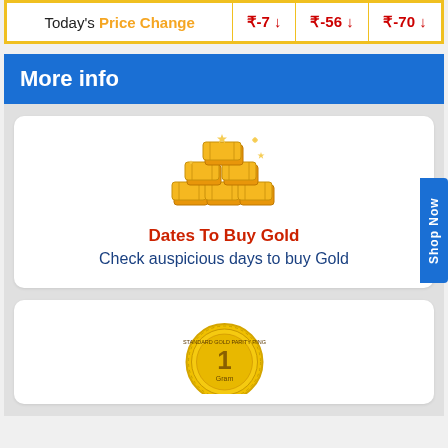|  |  |  |  |
| --- | --- | --- | --- |
| Today's Price Change | ₹-7 ↓ | ₹-56 ↓ | ₹-70 ↓ |
More info
[Figure (illustration): Gold bars pile with sparkles emoji illustration]
Dates To Buy Gold
Check auspicious days to buy Gold
[Figure (illustration): Standard Gold Parity Ring coin with number 1 and 1 Gram label]